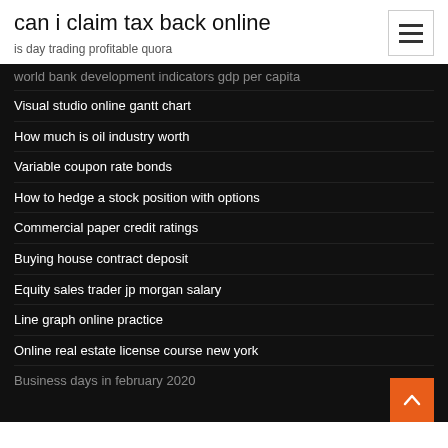can i claim tax back online
is day trading profitable quora
world bank development indicators gdp per capita
Visual studio online gantt chart
How much is oil industry worth
Variable coupon rate bonds
How to hedge a stock position with options
Commercial paper credit ratings
Buying house contract deposit
Equity sales trader jp morgan salary
Line graph online practice
Online real estate license course new york
Business days in february 2020